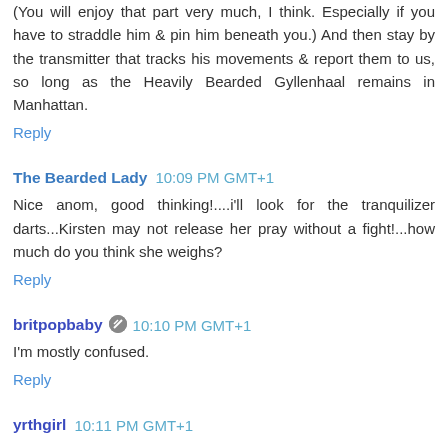(You will enjoy that part very much, I think. Especially if you have to straddle him & pin him beneath you.) And then stay by the transmitter that tracks his movements & report them to us, so long as the Heavily Bearded Gyllenhaal remains in Manhattan.
Reply
The Bearded Lady  10:09 PM GMT+1
Nice anom, good thinking!....i'll look for the tranquilizer darts...Kirsten may not release her pray without a fight!...how much do you think she weighs?
Reply
britpopbaby  10:10 PM GMT+1
I'm mostly confused.
Reply
yrthgirl  10:11 PM GMT+1